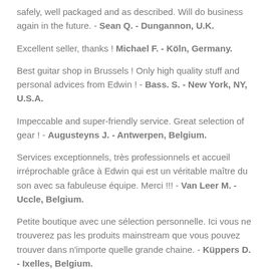safely, well packaged and as described. Will do business again in the future. - Sean Q. - Dungannon, U.K.
Excellent seller, thanks ! Michael F. - Köln, Germany.
Best guitar shop in Brussels ! Only high quality stuff and personal advices from Edwin ! - Bass. S. - New York, NY, U.S.A.
Impeccable and super-friendly service. Great selection of gear ! - Augusteyns J. - Antwerpen, Belgium.
Services exceptionnels, très professionnels et accueil irréprochable grâce à Edwin qui est un véritable maître du son avec sa fabuleuse équipe. Merci !!! - Van Leer M. - Uccle, Belgium.
Petite boutique avec une sélection personnelle. Ici vous ne trouverez pas les produits mainstream que vous pouvez trouver dans n'importe quelle grande chaine. - Küppers D. - Ixelles, Belgium.